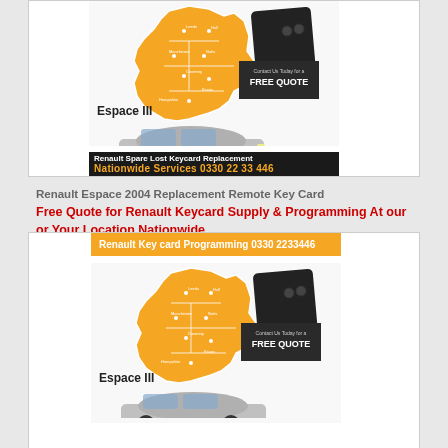[Figure (photo): Advertisement image for Renault Spare Lost Keycard Replacement showing map of England, a Renault key card, a Renault Espace III car, and a Free Quote contact box. Nationwide Services 0330 22 33 446.]
Renault Espace 2004 Replacement Remote Key Card
Free Quote for Renault Keycard Supply & Programming At our or Your Location Nationwide
[Figure (photo): Second advertisement image for Renault Key card Programming 0330 2233446, showing map of England, a Renault key card, a Renault Espace III car, and a Free Quote contact box.]